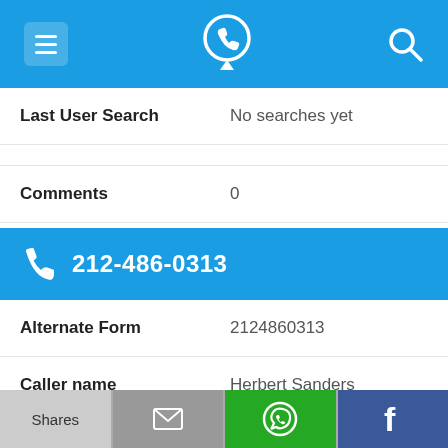App header bar with menu, phone locator logo, and search icon
| Field | Value |
| --- | --- |
| Last User Search | No searches yet |
| Comments | 0 |
212-486-0313
| Field | Value |
| --- | --- |
| Alternate Form | 2124860313 |
| Caller name | Herbert Sanders |
| Last User Search | No searches yet |
| Comments | 0 |
Shares | [email icon] | [WhatsApp icon] | [Facebook icon]